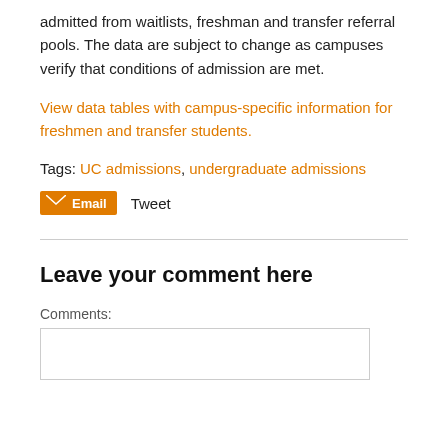admitted from waitlists, freshman and transfer referral pools. The data are subject to change as campuses verify that conditions of admission are met.
View data tables with campus-specific information for freshmen and transfer students.
Tags: UC admissions, undergraduate admissions
Email  Tweet
Leave your comment here
Comments: